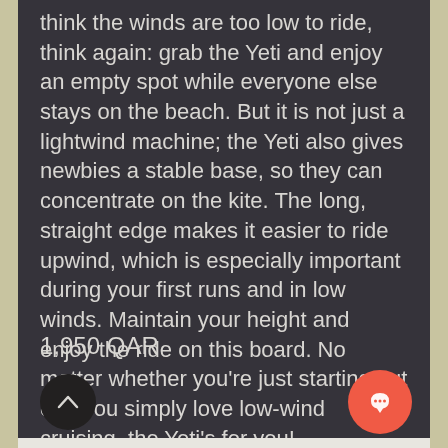think the winds are too low to ride, think again: grab the Yeti and enjoy an empty spot while everyone else stays on the beach. But it is not just a lightwind machine; the Yeti also gives newbies a stable base, so they can concentrate on the kite. The long, straight edge makes it easier to ride upwind, which is especially important during your first runs and in low winds. Maintain your height and enjoy the ride on this board. No matter whether you're just starting out or if you simply love low-wind cruising, the Yeti's for you!
1,950 QAR